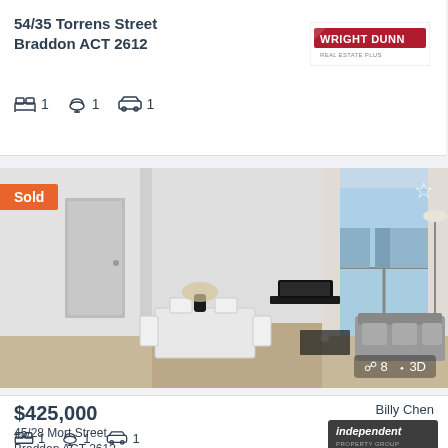54/35 Torrens Street Braddon ACT 2612
1 bed 1 bath 1 car
[Figure (logo): Wright Dunn Real Estate logo]
[Figure (photo): Interior photo of apartment living/dining room with white furniture, dining table, TV unit, large sliding glass doors to balcony with outdoor views]
Sold
8 photos | 3D
$425,000
45/28 Mort Street Braddon ACT 2612
1 bed 1 bath 1 car
Billy Chen
[Figure (logo): Independent Property Group logo]